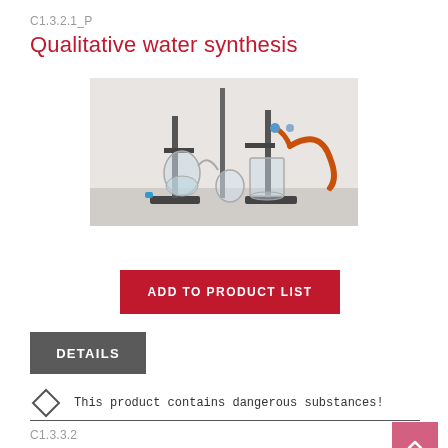C1.3.2.1_P
Qualitative water synthesis
[Figure (photo): Laboratory setup showing glassware, retort stands, and orange tubing for water synthesis experiment]
ADD TO PRODUCT LIST
DETAILS
This product contains dangerous substances!
C1.3.3.2
The ion product of water